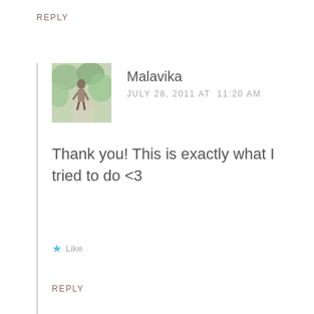REPLY
[Figure (photo): A small square avatar photo showing a person outdoors among trees and greenery]
Malavika
JULY 28, 2011 AT 11:20 AM
Thank you! This is exactly what I tried to do <3
Like
REPLY